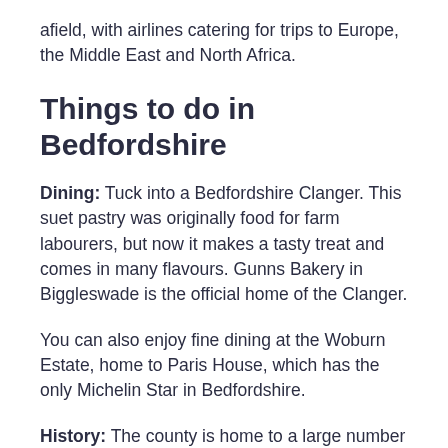afield, with airlines catering for trips to Europe, the Middle East and North Africa.
Things to do in Bedfordshire
Dining: Tuck into a Bedfordshire Clanger. This suet pastry was originally food for farm labourers, but now it makes a tasty treat and comes in many flavours. Gunns Bakery in Biggleswade is the official home of the Clanger.
You can also enjoy fine dining at the Woburn Estate, home to Paris House, which has the only Michelin Star in Bedfordshire.
History: The county is home to a large number of stately homes, such as Luton Hoo and Wrest Park. If you're a keen gardener, you'll enjoy Luton Hoo as it has beautiful gardens for you to...